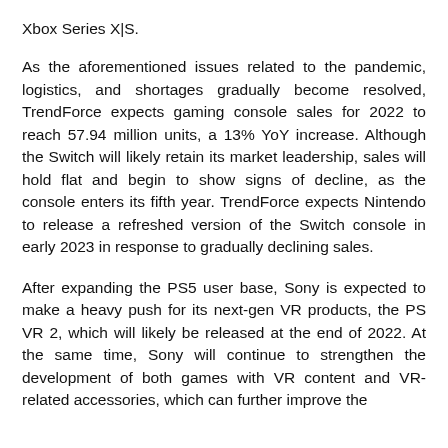Xbox Series X|S.
As the aforementioned issues related to the pandemic, logistics, and shortages gradually become resolved, TrendForce expects gaming console sales for 2022 to reach 57.94 million units, a 13% YoY increase. Although the Switch will likely retain its market leadership, sales will hold flat and begin to show signs of decline, as the console enters its fifth year. TrendForce expects Nintendo to release a refreshed version of the Switch console in early 2023 in response to gradually declining sales.
After expanding the PS5 user base, Sony is expected to make a heavy push for its next-gen VR products, the PS VR 2, which will likely be released at the end of 2022. At the same time, Sony will continue to strengthen the development of both games with VR content and VR-related accessories, which can further improve the